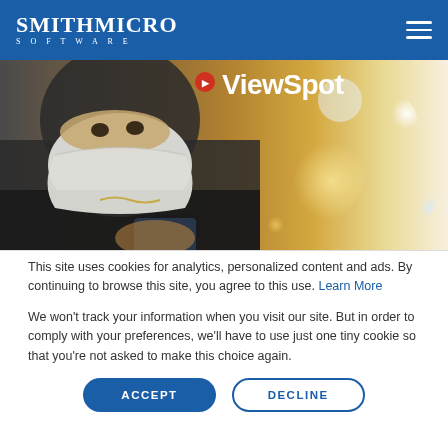SmithMicro Software
[Figure (photo): Woman wearing a face mask looking at a smartphone, with ViewSpot branding text visible in the upper area. Bokeh background with warm orange and yellow tones.]
This site uses cookies for analytics, personalized content and ads. By continuing to browse this site, you agree to this use. Learn More
We won't track your information when you visit our site. But in order to comply with your preferences, we'll have to use just one tiny cookie so that you're not asked to make this choice again.
ACCEPT
DECLINE